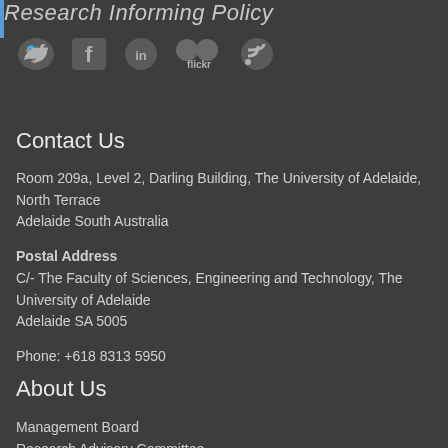Research Informing Policy
[Figure (illustration): Social media icons: Twitter, Facebook, LinkedIn, Flickr, RSS feed]
Contact Us
Room 209a, Level 2, Darling Building, The University of Adelaide, North Terrace
Adelaide South Australia
Postal Address
C/- The Faculty of Sciences, Engineering and Technology, The University of Adelaide
Adelaide SA 5005
Phone: +618 8313 5950
About Us
Management Board
Research Advisory Committee
Staff